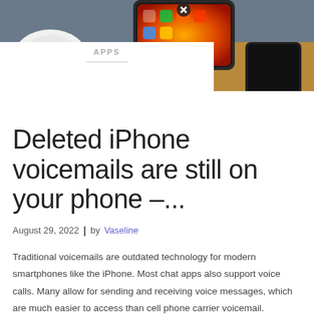[Figure (photo): Photo of iPhone with colorful screen and AirPods case on left, dark phone on wooden surface on right]
APPS
Deleted iPhone voicemails are still on your phone –...
August 29, 2022  |  by Vaseline
Traditional voicemails are outdated technology for modern smartphones like the iPhone. Most chat apps also support voice calls. Many allow for sending and receiving voice messages, which are much easier to access than cell phone carrier voicemail. However, if you are still using voicemails on your iPhone, you should know that you can delete them permanently.